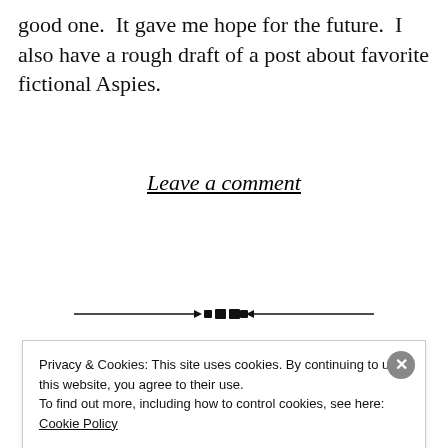good one.  It gave me hope for the future.  I also have a rough draft of a post about favorite fictional Aspies.
Leave a comment
[Figure (illustration): Decorative horizontal divider with diamond/dot ornament in the center, lines extending left and right]
Posted on May 10, 2014 under Links
Privacy & Cookies: This site uses cookies. By continuing to use this website, you agree to their use.
To find out more, including how to control cookies, see here: Cookie Policy
Close and accept